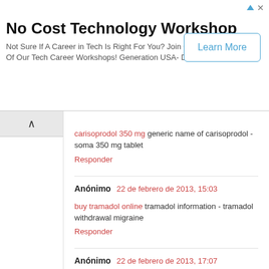[Figure (other): Advertisement banner: No Cost Technology Workshop. Not Sure If A Career in Tech Is Right For You? Join One Of Our Tech Career Workshops! Generation USA- D.C. Learn More button.]
carisoprodol 350 mg generic name of carisoprodol - soma 350 mg tablet
Responder
Anónimo 22 de febrero de 2013, 15:03
buy tramadol online tramadol information - tramadol withdrawal migraine
Responder
Anónimo 22 de febrero de 2013, 17:07
buy tramadol online tramadol 50 mg get you high - order tramadol
Responder